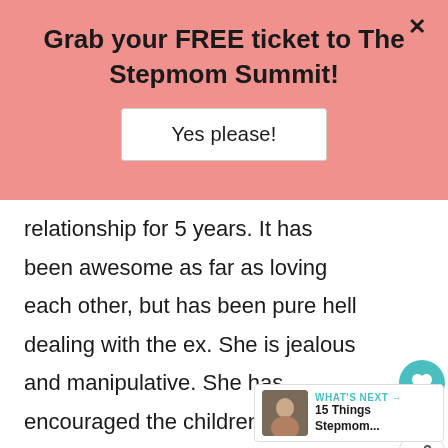Grab your FREE ticket to The Stepmom Summit!
Yes please!
relationship for 5 years. It has been awesome as far as loving each other, but has been pure hell dealing with the ex. She is jealous and manipulative. She has encouraged the children to hate me and has succeeded with the oldest. She has not
16
WHAT'S NEXT → 15 Things Stepmom...